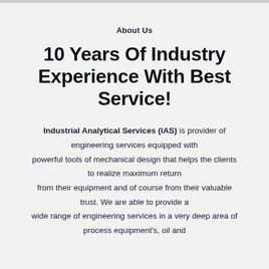About Us
10 Years Of Industry Experience With Best Service!
Industrial Analytical Services (IAS) is provider of engineering services equipped with powerful tools of mechanical design that helps the clients to realize maximum return from their equipment and of course from their valuable trust. We are able to provide a wide range of engineering services in a very deep area of process equipment's, oil and